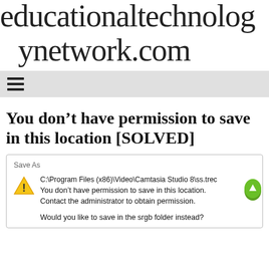educationaltechnologynetwork.com
[Figure (screenshot): Navigation bar with hamburger menu icon on grey background]
You don’t have permission to save in this location [SOLVED]
[Figure (screenshot): Windows Save As dialog error showing: C:\Program Files (x86)\Video\Camtasia Studio 8\ss.trec You don't have permission to save in this location. Contact the administrator to obtain permission. Would you like to save in the srgb folder instead?]